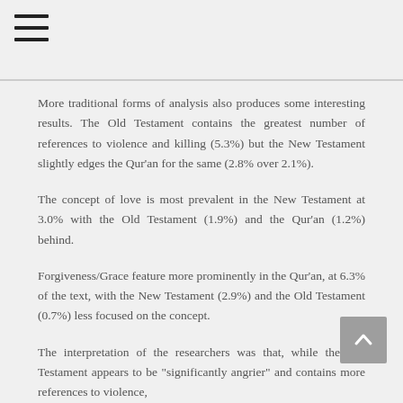More traditional forms of analysis also produces some interesting results. The Old Testament contains the greatest number of references to violence and killing (5.3%) but the New Testament slightly edges the Qur'an for the same (2.8% over 2.1%).
The concept of love is most prevalent in the New Testament at 3.0% with the Old Testament (1.9%) and the Qur'an (1.2%) behind.
Forgiveness/Grace feature more prominently in the Qur'an, at 6.3% of the text, with the New Testament (2.9%) and the Old Testament (0.7%) less focused on the concept.
The interpretation of the researchers was that, while the Old Testament appears to be "significantly angrier" and contains more references to violence,